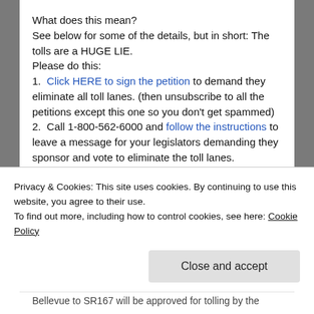What does this mean?
See below for some of the details, but in short: The tolls are a HUGE LIE.
Please do this:
1.  Click HERE to sign the petition to demand they eliminate all toll lanes. (then unsubscribe to all the petitions except this one so you don't get spammed)
2.  Call 1-800-562-6000 and follow the instructions to leave a message for your legislators demanding they sponsor and vote to eliminate the toll lanes.
3.  Share this with all your friends and neighbors and encourage them to do the same.  Only when we get their
Privacy & Cookies: This site uses cookies. By continuing to use this website, you agree to their use.
To find out more, including how to control cookies, see here: Cookie Policy
Close and accept
Bellevue to SR167 will be approved for tolling by the